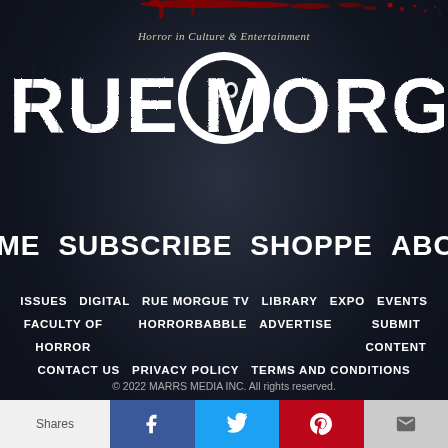[Figure (logo): Rue Morgue magazine logo with blood splatter at top and dark misty background. Tagline reads 'Horror in Culture & Entertainment'. Large distressed white text 'RUE MORGUE' with skull moon replacing the O.]
HOME   SUBSCRIBE   SHOPPE   ABOUT
ISSUES   DIGITAL   RUE MORGUE TV   LIBRARY   EXPO   EVENTS
FACULTY OF HORROR   HORRORBABBLE   ADVERTISE   SUBMIT CONTENT
CONTACT US   PRIVACY POLICY   TERMS AND CONDITIONS
© 2022 MARRS MEDIA INC. All rights reserved.
[Figure (infographic): Social sharing bar at bottom with Shares label, Facebook (blue), Twitter (light blue), Pinterest (red), Email (grey) buttons with icons.]